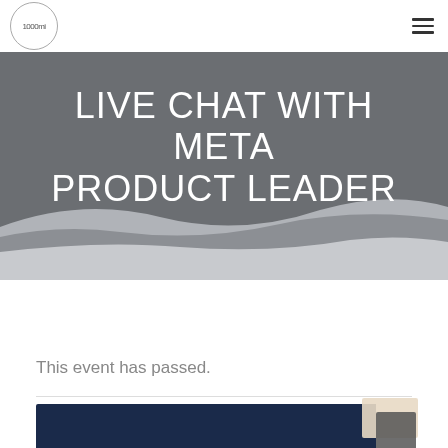1000mi logo and hamburger menu
LIVE CHAT WITH META PRODUCT LEADER
This event has passed.
[Figure (photo): Dark navy blue event banner image at the bottom of the page with a tan/beige and dark grey overlay box in the upper right corner]